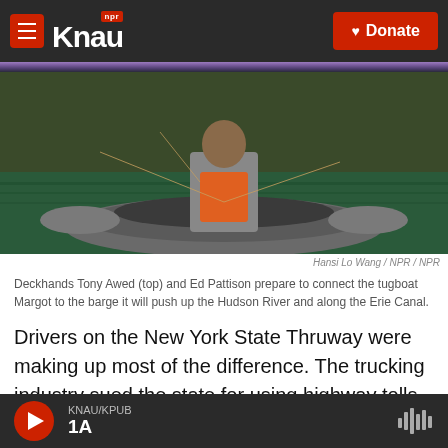KNAU - NPR / Donate
[Figure (photo): Deckhands on a tugboat preparing to connect to a barge, aerial/front view, person wearing orange safety vest on water]
Hansi Lo Wang / NPR / NPR
Deckhands Tony Awed (top) and Ed Pattison prepare to connect the tugboat Margot to the barge it will push up the Hudson River and along the Erie Canal.
Drivers on the New York State Thruway were making up most of the difference. The trucking industry sued the state for using highway tolls to fund the canals and won in federal court in August.
KNAU/KPUB 1A